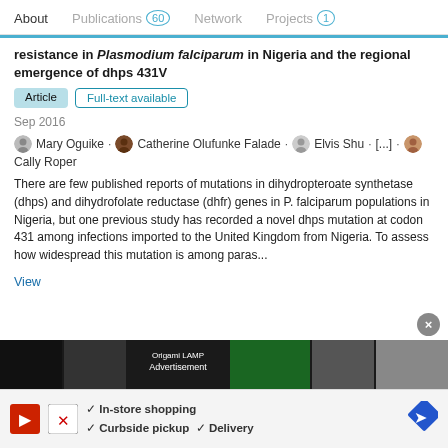About  Publications 60  Network  Projects 1
resistance in Plasmodium falciparum in Nigeria and the regional emergence of dhps 431V
Article  Full-text available
Sep 2016
Mary Oguike · Catherine Olufunke Falade · Elvis Shu · [...] · Cally Roper
There are few published reports of mutations in dihydropteroate synthetase (dhps) and dihydrofolate reductase (dhfr) genes in P. falciparum populations in Nigeria, but one previous study has recorded a novel dhps mutation at codon 431 among infections imported to the United Kingdom from Nigeria. To assess how widespread this mutation is among paras...
View